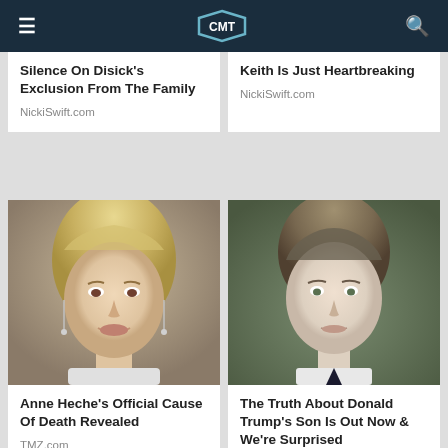CMT (navigation bar with hamburger menu, CMT logo, search icon)
Silence On Disick's Exclusion From The Family
NickiSwift.com
Keith Is Just Heartbreaking
NickiSwift.com
[Figure (photo): Portrait photo of Anne Heche, blonde woman smiling with dangly earrings]
Anne Heche's Official Cause Of Death Revealed
TMZ.com
[Figure (photo): Portrait photo of a young teenage boy (Barron Trump), brown hair, wearing suit]
The Truth About Donald Trump's Son Is Out Now & We're Surprised
TheList.com